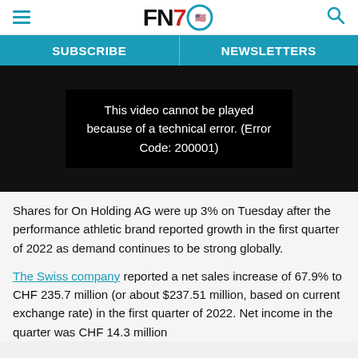FN7 [logo with hamburger menu and search icon]
SUBSCRIBE   NEWSLETTERS
[Figure (screenshot): Black video player showing error message: 'This video cannot be played because of a technical error. (Error Code: 200001)']
Shares for On Holding AG were up 3% on Tuesday after the performance athletic brand reported growth in the first quarter of 2022 as demand continues to be strong globally.
The Swiss company reported a net sales increase of 67.9% to CHF 235.7 million (or about $237.51 million, based on current exchange rate) in the first quarter of 2022. Net income in the quarter was CHF 14.3 million